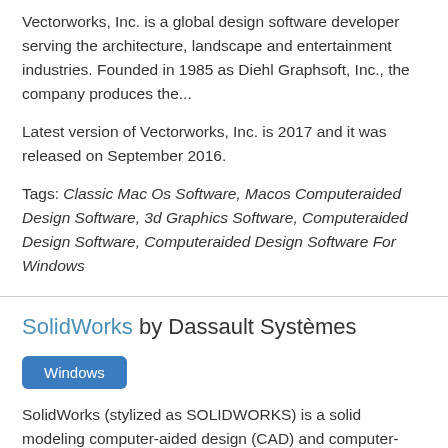Vectorworks, Inc. is a global design software developer serving the architecture, landscape and entertainment industries. Founded in 1985 as Diehl Graphsoft, Inc., the company produces the...
Latest version of Vectorworks, Inc. is 2017 and it was released on September 2016.
Tags: Classic Mac Os Software, Macos Computeraided Design Software, 3d Graphics Software, Computeraided Design Software, Computeraided Design Software For Windows
SolidWorks by Dassault Systèmes
Windows
SolidWorks (stylized as SOLIDWORKS) is a solid modeling computer-aided design (CAD) and computer-aided engineering (CAE) computer program that runs on